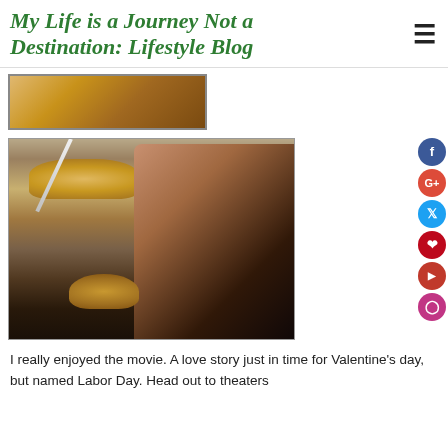My Life is a Journey Not a Destination: Lifestyle Blog
[Figure (photo): Partial photo of a pie dish, cropped at top]
[Figure (photo): Woman smiling and holding up a pie in a foil pan, with a pie server/spatula visible, indoors with warm lighting]
I really enjoyed the movie. A love story just in time for Valentine's day, but named Labor Day. Head out to theaters